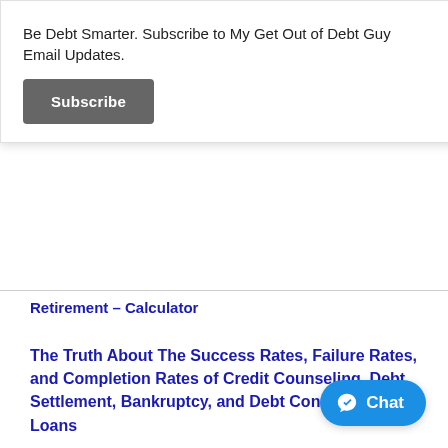Be Debt Smarter. Subscribe to My Get Out of Debt Guy Email Updates.
Subscribe
×
Retirement – Calculator
The Truth About The Success Rates, Failure Rates, and Completion Rates of Credit Counseling, Debt Settlement, Bankruptcy, and Debt Consolidation Loans
My Guide to Getting Out of Debt With Proven
Chat